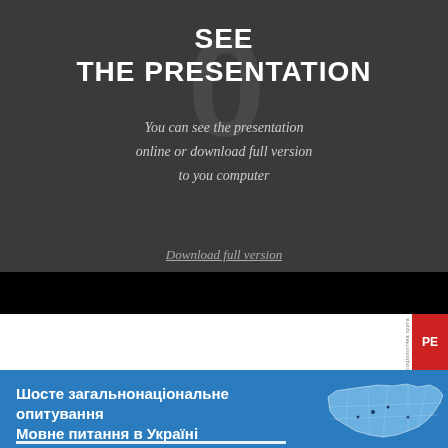SEE
THE PRESENTATION
You can see the presentation online or download full version to you computer
Download full version
[Figure (screenshot): Slide preview thumbnail showing a sociological group presentation cover. White slide area with vertical red block on right side with Cyrillic text 'соціологічна група' and logo 'РЕ'. Black horizontal bar above the slide. Blue footer bar with Ukrainian text.]
Шосте загальнонаціональне опитування Мовне питання в Україні